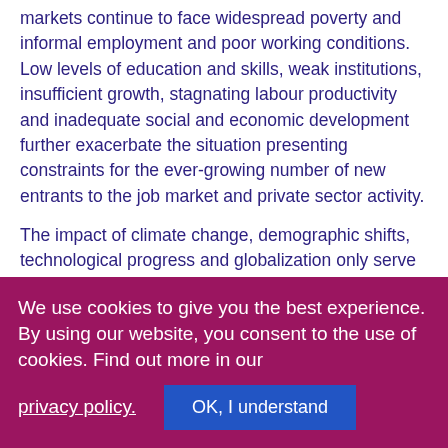markets continue to face widespread poverty and informal employment and poor working conditions. Low levels of education and skills, weak institutions, insufficient growth, stagnating labour productivity and inadequate social and economic development further exacerbate the situation presenting constraints for the ever-growing number of new entrants to the job market and private sector activity.

The impact of climate change, demographic shifts, technological progress and globalization only serve to amplify existing challenges in Africa. The ILO estimates that some 1.25 billion workers are employed in sectors that are now facing a severe decline in output and a high risk of workforce displacement, including job losses,
We use cookies to give you the best experience. By using our website, you consent to the use of cookies. Find out more in our privacy policy.